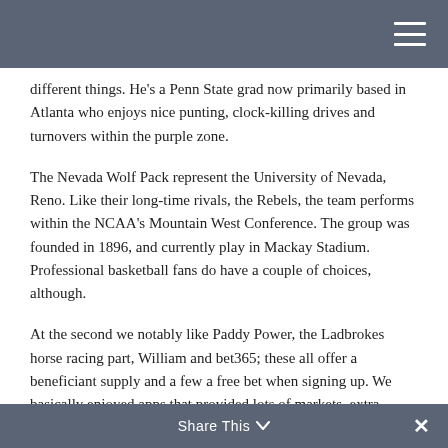different things. He's a Penn State grad now primarily based in Atlanta who enjoys nice punting, clock-killing drives and turnovers within the purple zone.
The Nevada Wolf Pack represent the University of Nevada, Reno. Like their long-time rivals, the Rebels, the team performs within the NCAA's Mountain West Conference. The group was founded in 1896, and currently play in Mackay Stadium. Professional basketball fans do have a couple of choices, although.
At the second we notably like Paddy Power, the Ladbrokes horse racing part, William and bet365; these all offer a beneficiant supply and a few a free bet when signing up. We basically enjoyed apps that provided lots of markets, extra features and a spread of bet
Share This